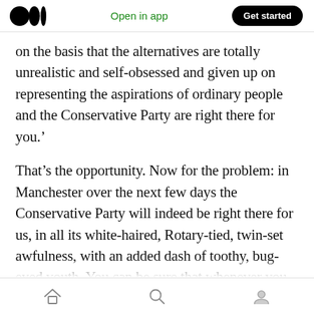Medium app header — logo, Open in app, Get started
on the basis that the alternatives are totally unrealistic and self-obsessed and given up on representing the aspirations of ordinary people and the Conservative Party are right there for you.'
That’s the opportunity. Now for the problem: in Manchester over the next few days the Conservative Party will indeed be right there for us, in all its white-haired, Rotary-tied, twin-set awfulness, with an added dash of toothy, bug-eyed youth. You can be sure that whenever you see the PM or the Chancellor they will be
Home | Search | Profile navigation icons